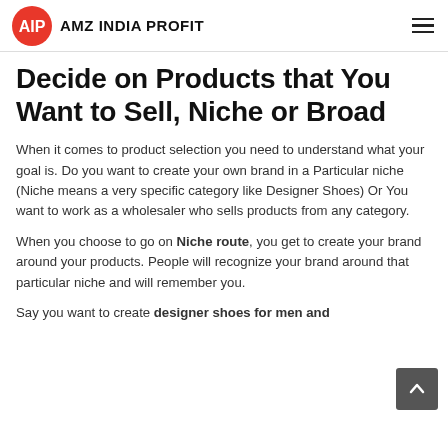AMZ INDIA PROFIT
Decide on Products that You Want to Sell, Niche or Broad
When it comes to product selection you need to understand what your goal is. Do you want to create your own brand in a Particular niche (Niche means a very specific category like Designer Shoes) Or You want to work as a wholesaler who sells products from any category.
When you choose to go on Niche route, you get to create your brand around your products. People will recognize your brand around that particular niche and will remember you.
Say you want to create designer shoes for men and